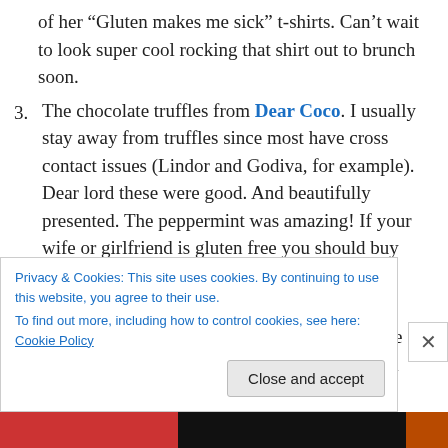of her “Gluten makes me sick” t-shirts. Can’t wait to look super cool rocking that shirt out to brunch soon.
3. The chocolate truffles from Dear Coco. I usually stay away from truffles since most have cross contact issues (Lindor and Godiva, for example). Dear lord these were good. And beautifully presented. The peppermint was amazing! If your wife or girlfriend is gluten free you should buy these for her immediately.
4. Pete’s Apizza delivered again this year with a summer pasta dish with corn, cheese, and some kind of green sauce. My friend went back for a second bowl, even
Privacy & Cookies: This site uses cookies. By continuing to use this website, you agree to their use. To find out more, including how to control cookies, see here: Cookie Policy